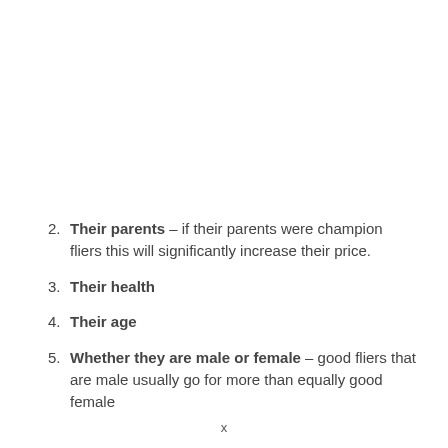2. Their parents – if their parents were champion fliers this will significantly increase their price.
3. Their health
4. Their age
5. Whether they are male or female – good fliers that are male usually go for more than equally good female
x